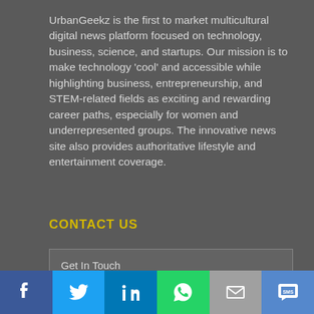UrbanGeekz is the first to market multicultural digital news platform focused on technology, business, science, and startups. Our mission is to make technology 'cool' and accessible while highlighting business, entrepreneurship, and STEM-related fields as exciting and rewarding career paths, especially for women and underrepresented groups. The innovative news site also provides authoritative lifestyle and entertainment coverage.
CONTACT US
Get In Touch
General Inquires
Have a Story to Tell